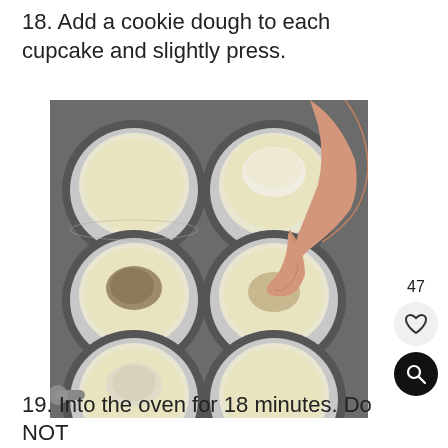18. Add a cookie dough to each cupcake and slightly press.
[Figure (photo): A muffin tin with 6 cupcake wells visible, lined with paper liners filled with pale yellow batter. A hand is pressing a cookie dough ball into the center of one cupcake. Other cupcakes have cookie dough already pressed in.]
19. Into the oven for 18 minutes.  Do NOT